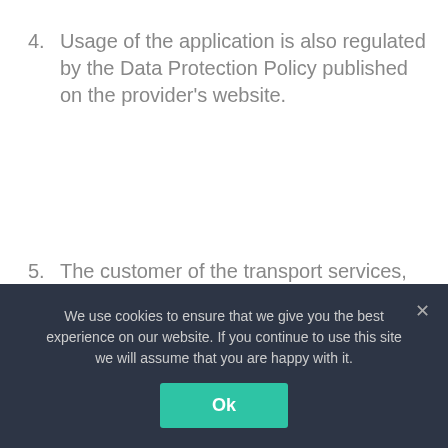4. Usage of the application is also regulated by the Data Protection Policy published on the provider's website.
5. The customer of the transport services, i.e. the person demanding transport services (the „customer”) is any natural person – entrepreneur or a legal entity that orders transport services through the order form (the „order”) via the application or at
We use cookies to ensure that we give you the best experience on our website. If you continue to use this site we will assume that you are happy with it.